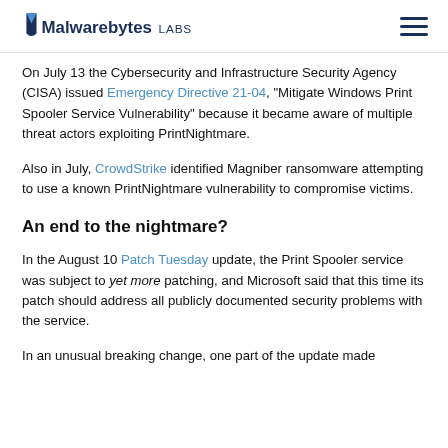Malwarebytes LABS
On July 13 the Cybersecurity and Infrastructure Security Agency (CISA) issued Emergency Directive 21-04, “Mitigate Windows Print Spooler Service Vulnerability” because it became aware of multiple threat actors exploiting PrintNightmare.
Also in July, CrowdStrike identified Magniber ransomware attempting to use a known PrintNightmare vulnerability to compromise victims.
An end to the nightmare?
In the August 10 Patch Tuesday update, the Print Spooler service was subject to yet more patching, and Microsoft said that this time its patch should address all publicly documented security problems with the service.
In an unusual breaking change, one part of the update made